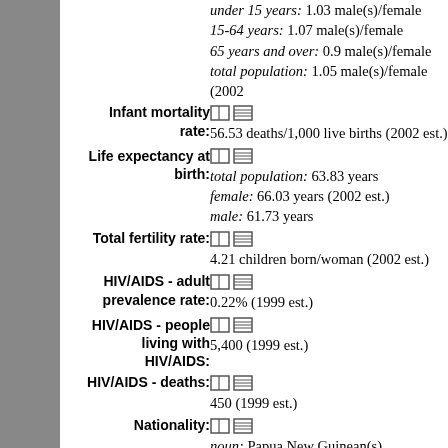under 15 years: 1.03 male(s)/female
15-64 years: 1.07 male(s)/female
65 years and over: 0.9 male(s)/female
total population: 1.05 male(s)/female (2002
Infant mortality rate: 56.53 deaths/1,000 live births (2002 est.)
Life expectancy at birth: total population: 63.83 years
female: 66.03 years (2002 est.)
male: 61.73 years
Total fertility rate: 4.21 children born/woman (2002 est.)
HIV/AIDS - adult prevalence rate: 0.22% (1999 est.)
HIV/AIDS - people living with HIV/AIDS: 5,400 (1999 est.)
HIV/AIDS - deaths: 450 (1999 est.)
Nationality: